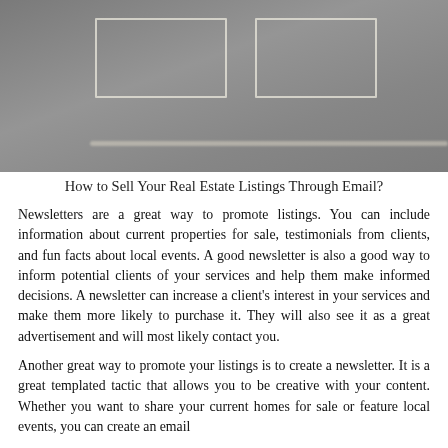[Figure (photo): Aerial or overhead photograph with grey/concrete background showing chalk-drawn rectangular outlines resembling a football field or court markings. White chalked rectangles and a horizontal line visible.]
How to Sell Your Real Estate Listings Through Email?
Newsletters are a great way to promote listings. You can include information about current properties for sale, testimonials from clients, and fun facts about local events. A good newsletter is also a good way to inform potential clients of your services and help them make informed decisions. A newsletter can increase a client's interest in your services and make them more likely to purchase it. They will also see it as a great advertisement and will most likely contact you.
Another great way to promote your listings is to create a newsletter. It is a great templated tactic that allows you to be creative with your content. Whether you want to share your current homes for sale or feature local events, you can create an email